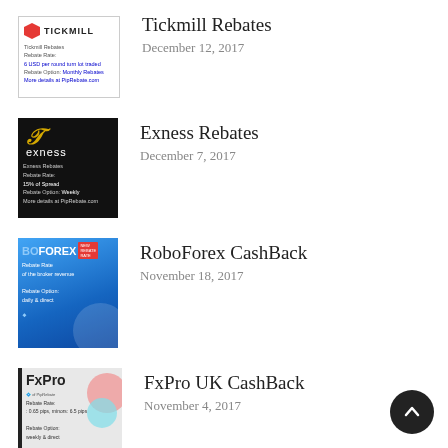[Figure (illustration): Tickmill broker rebates card thumbnail with logo and rebate details]
Tickmill Rebates
December 12, 2017
[Figure (illustration): Exness broker rebates card thumbnail with logo on black background]
Exness Rebates
December 7, 2017
[Figure (illustration): RoboForex CashBack card thumbnail with blue gradient background]
RoboForex CashBack
November 18, 2017
[Figure (illustration): FxPro UK CashBack card thumbnail with light grey background and colorful circles]
FxPro UK CashBack
November 4, 2017